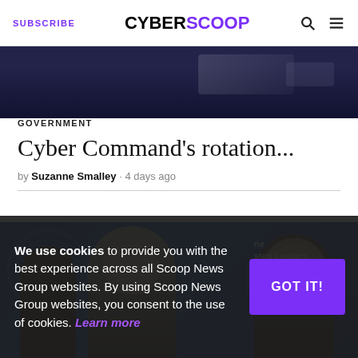SUBSCRIBE | CYBERSCOOP
[Figure (photo): Dark background photo, partially visible at top of page]
GOVERNMENT
Cyber Command's rotation...
by Suzanne Smalley · 4 days ago
[Figure (photo): Photo of military/government officials at an event with blue banners reading 'Trusted Leaders Command & Agency']
We use cookies to provide you with the best experience across all Scoop News Group websites. By using Scoop News Group websites, you consent to the use of cookies. Learn more